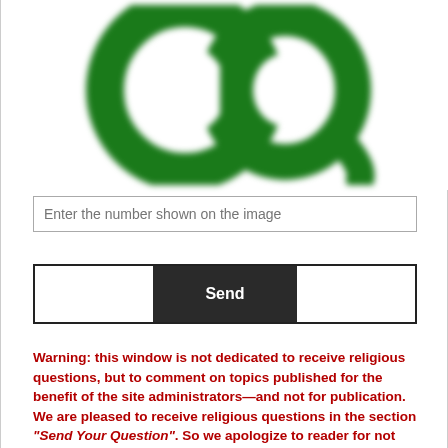[Figure (logo): Green stylized letter Q logo, blurred/pixelated, on white background]
Enter the number shown on the image
Send
Warning: this window is not dedicated to receive religious questions, but to comment on topics published for the benefit of the site administrators—and not for publication. We are pleased to receive religious questions in the section "Send Your Question". So we apologize to reader for not